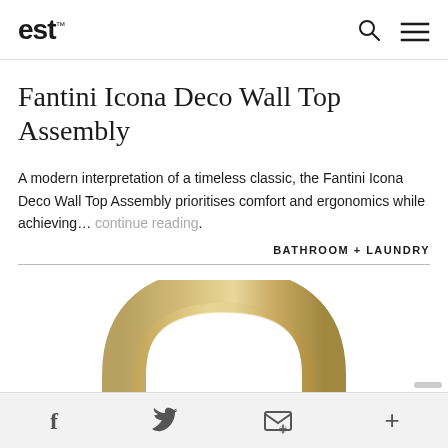est
Fantini Icona Deco Wall Top Assembly
A modern interpretation of a timeless classic, the Fantini Icona Deco Wall Top Assembly prioritises comfort and ergonomics while achieving... continue reading.
BATHROOM + LAUNDRY
[Figure (photo): Gold/brass arched faucet spout, viewed from front, partially cropped at bottom]
f  (twitter bird)  (email icon)  +